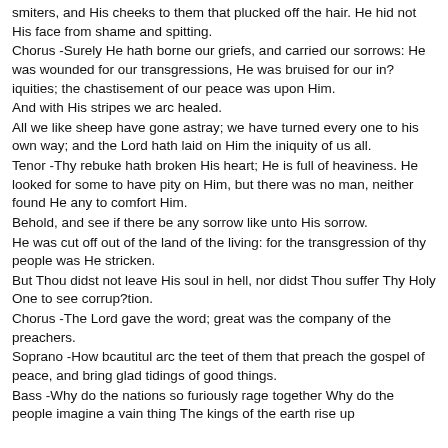smiters, and His cheeks to them that plucked off the hair. He hid not His face from shame and spitting.
Chorus -Surely He hath borne our griefs, and carried our sorrows: He was wounded for our transgressions, He was bruised for our in?iquities; the chastisement of our peace was upon Him.
And with His stripes we arc healed.
All we like sheep have gone astray; we have turned every one to his own way; and the Lord hath laid on Him the iniquity of us all.
Tenor -Thy rebuke hath broken His heart; He is full of heaviness. He looked for some to have pity on Him, but there was no man, neither found He any to comfort Him.
Behold, and see if there be any sorrow like unto His sorrow.
He was cut off out of the land of the living: for the transgression of thy people was He stricken.
But Thou didst not leave His soul in hell, nor didst Thou suffer Thy Holy One to see corrup?tion.
Chorus -The Lord gave the word; great was the company of the preachers.
Soprano -How bcautitul arc the teet of them that preach the gospel of peace, and bring glad tidings of good things.
Bass -Why do the nations so furiously rage together Why do the people imagine a vain thing The kings of the earth rise up